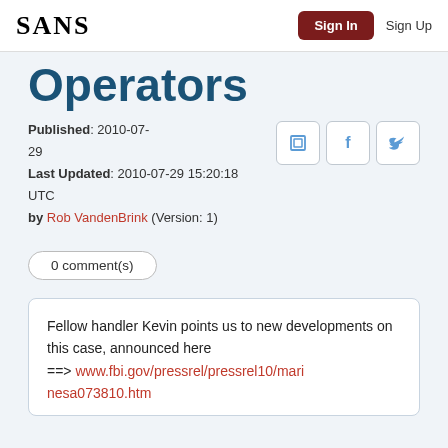SANS  Sign In  Sign Up
Operators
Published: 2010-07-29
Last Updated: 2010-07-29 15:20:18 UTC
by Rob VandenBrink (Version: 1)
0 comment(s)
Fellow handler Kevin points us to new developments on this case, announced here
==> www.fbi.gov/pressrel/pressrel10/marinesa073810.htm